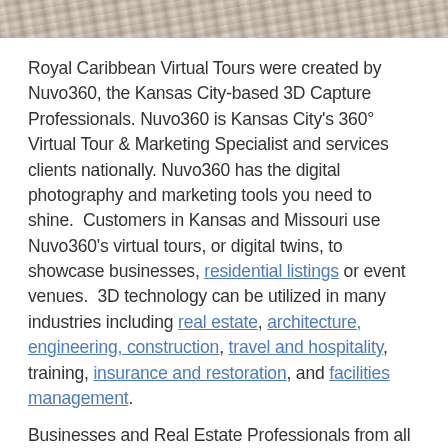[Figure (photo): Partial view of a rocky or earthen textured surface, appearing at the top of the page as a cropped horizontal strip.]
Royal Caribbean Virtual Tours were created by Nuvo360, the Kansas City-based 3D Capture Professionals. Nuvo360 is Kansas City's 360° Virtual Tour & Marketing Specialist and services clients nationally. Nuvo360 has the digital photography and marketing tools you need to shine.  Customers in Kansas and Missouri use Nuvo360's virtual tours, or digital twins, to showcase businesses, residential listings or event venues.  3D technology can be utilized in many industries including real estate, architecture, engineering, construction, travel and hospitality, training, insurance and restoration, and facilities management.
Businesses and Real Estate Professionals from all over the world are experiencing tremendous benefits from